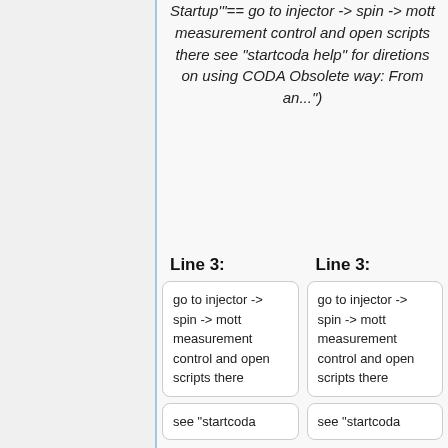Startup"'== go to injector -> spin -> mott measurement control and open scripts there see "startcoda help" for diretions on using CODA Obsolete way: From an...")
Line 3:
Line 3:
go to injector -> spin -> mott measurement control and open scripts there
go to injector -> spin -> mott measurement control and open scripts there
see "startcoda
see "startcoda